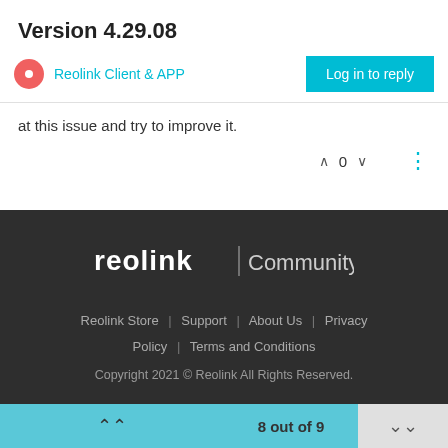Version 4.29.08
Reolink Client & APP
at this issue and try to improve it.
[Figure (screenshot): Vote arrows, count 0, and three-dot menu]
[Figure (logo): Reolink | Community logo in white on dark background]
Reolink Store | Support | About Us | Privacy Policy | Terms and Conditions
Copyright 2021 © Reolink All Rights Reserved.
8 out of 9